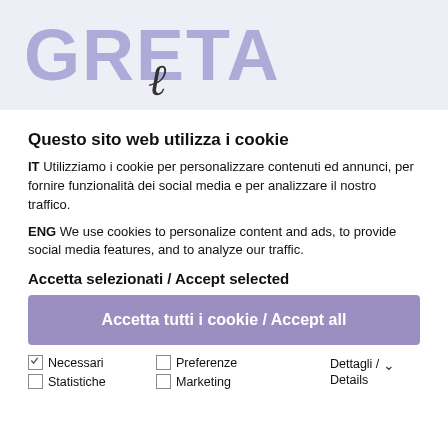[Figure (logo): GRETA logo — large lavender bold sans-serif text with a dark italic script accent character]
Questo sito web utilizza i cookie
IT Utilizziamo i cookie per personalizzare contenuti ed annunci, per fornire funzionalità dei social media e per analizzare il nostro traffico.
ENG We use cookies to personalize content and ads, to provide social media features, and to analyze our traffic.
Accetta selezionati / Accept selected
Accetta tutti i cookie / Accept all
Necessari   Preferenze   Dettagli / Details
Statistiche  Marketing